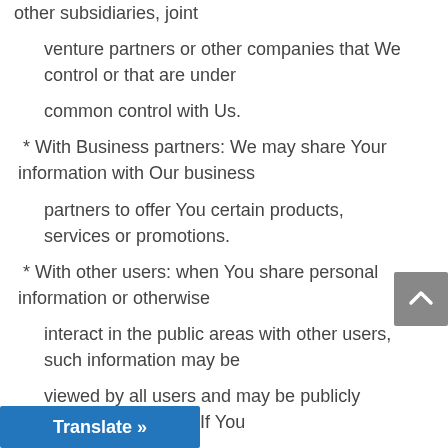other subsidiaries, joint venture partners or other companies that We control or that are under common control with Us.
* With Business partners: We may share Your information with Our business partners to offer You certain products, services or promotions.
* With other users: when You share personal information or otherwise interact in the public areas with other users, such information may be viewed by all users and may be publicly distributed outside. If You
other users or register through a